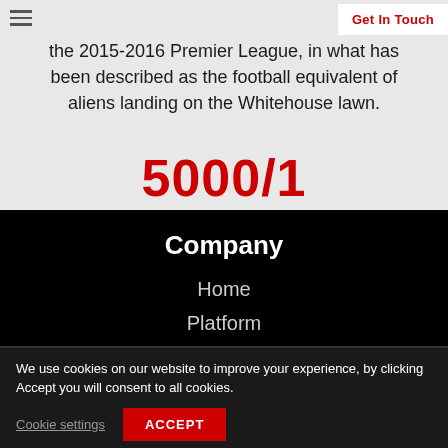the 2015-2016 Premier League, in what has been described as the football equivalent of aliens landing on the Whitehouse lawn.
5000/1
Company
Home
Platform
We use cookies on our website to improve your experience, by clicking Accept you will consent to all cookies.
Cookie settings
ACCEPT